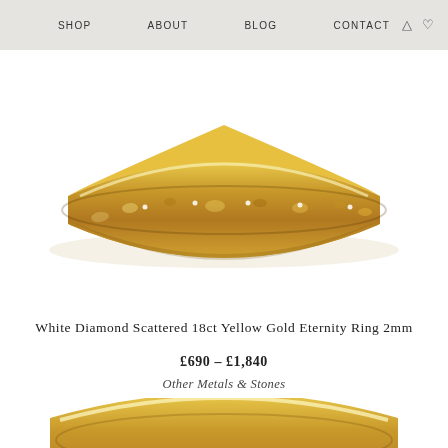SHOP   ABOUT   BLOG   CONTACT
[Figure (photo): Close-up photo of a textured 18ct yellow gold eternity ring 2mm with scattered white diamonds set into the surface, shown against a white background.]
White Diamond Scattered 18ct Yellow Gold Eternity Ring 2mm
£690 – £1,840
Other Metals & Stones
[Figure (photo): Partial close-up of a yellow gold ring band, showing the smooth curved top portion against a white background.]